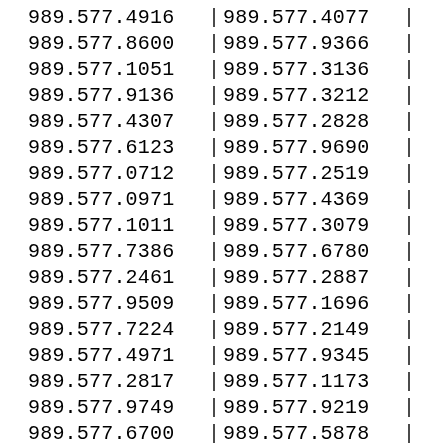| Col1 | Sep1 | Col2 | Sep2 |
| --- | --- | --- | --- |
| 989.577.4916 | | | 989.577.4077 | | |
| 989.577.8600 | | | 989.577.9366 | | |
| 989.577.1051 | | | 989.577.3136 | | |
| 989.577.9136 | | | 989.577.3212 | | |
| 989.577.4307 | | | 989.577.2828 | | |
| 989.577.6123 | | | 989.577.9690 | | |
| 989.577.0712 | | | 989.577.2519 | | |
| 989.577.0971 | | | 989.577.4369 | | |
| 989.577.1011 | | | 989.577.3079 | | |
| 989.577.7386 | | | 989.577.6780 | | |
| 989.577.2461 | | | 989.577.2887 | | |
| 989.577.9509 | | | 989.577.1696 | | |
| 989.577.7224 | | | 989.577.2149 | | |
| 989.577.4971 | | | 989.577.9345 | | |
| 989.577.2817 | | | 989.577.1173 | | |
| 989.577.9749 | | | 989.577.9219 | | |
| 989.577.6700 | | | 989.577.5878 | | |
| 989.577.9437 | | | 989.577.6060 | | |